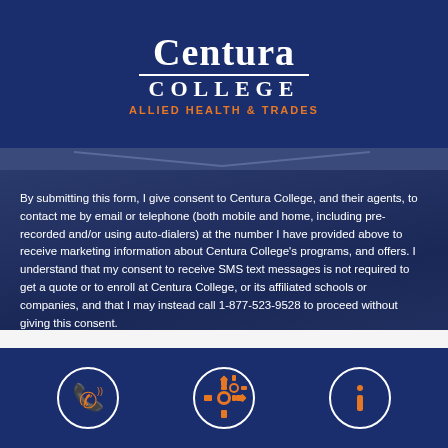[Figure (logo): Centura College Allied Health & Trades logo on dark blue background]
By submitting this form, I give consent to Centura College, and their agents, to contact me by email or telephone (both mobile and home, including pre-recorded and/or using auto-dialers) at the number I have provided above to receive marketing information about Centura College's programs, and offers. I understand that my consent to receive SMS text messages is not required to get a quote or to enroll at Centura College, or its affiliated schools or companies, and that I may instead call 1-877-523-9528 to proceed without giving this consent.
Esthetician
[Figure (infographic): Three orange circle icons on dark blue footer bar: phone/call icon, settings/gear icon, and info icon]